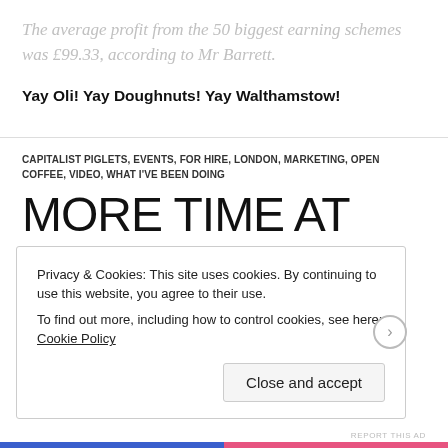The average profit from the 50 biggest earning schemes was £99.33, according to Mr Barrett.
Yay Oli! Yay Doughnuts! Yay Walthamstow!
CAPITALIST PIGLETS, EVENTS, FOR HIRE, LONDON, MARKETING, OPEN COFFEE, VIDEO, WHAT I'VE BEEN DOING
MORE TIME AT OPEN
Privacy & Cookies: This site uses cookies. By continuing to use this website, you agree to their use. To find out more, including how to control cookies, see here: Cookie Policy